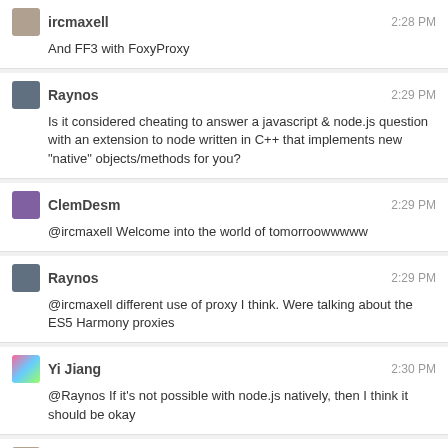ircmaxell 2:28 PM
And FF3 with FoxyProxy
Raynos 2:29 PM
Is it considered cheating to answer a javascript & node.js question with an extension to node written in C++ that implements new "native" objects/methods for you?
ClemDesm 2:29 PM
@ircmaxell Welcome into the world of tomorroowwwww
Raynos 2:29 PM
@ircmaxell different use of proxy I think. Were talking about the ES5 Harmony proxies
Yi Jiang 2:30 PM
@Raynos If it's not possible with node.js natively, then I think it should be okay
ircmaxell 2:30 PM
@Raynos Which is?
Raynos 2:31 PM
@ircmaxell A hook to catch setters/getters and the like
You wrap an object in a proxy and whenever you do anything with the object it goes through hooked functions
ircmaxell 2:32 PM
Ahhh, proxy pattern...
gotcha